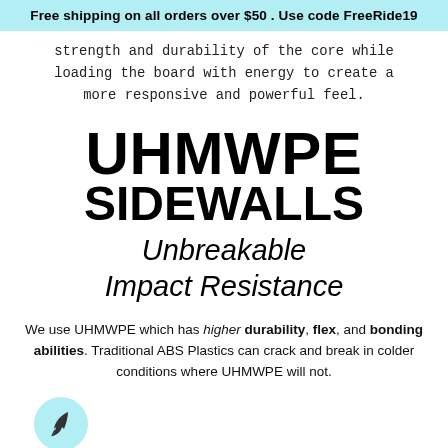Free shipping on all orders over $50 . Use code FreeRide19
strength and durability of the core while loading the board with energy to create a more responsive and powerful feel.
UHMWPE SIDEWALLS Unbreakable Impact Resistance
We use UHMWPE which has higher durability, flex, and bonding abilities. Traditional ABS Plastics can crack and break in colder conditions where UHMWPE will not.
[Figure (illustration): A light blue circle containing a feather/quill icon]
SINTERED